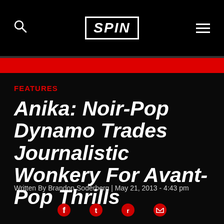SPIN
FEATURES
Anika: Noir-Pop Dynamo Trades Journalistic Wonkery For Avant-Pop Thrills
Written By Brandon Soderberg | May 21, 2013  - 4:43 pm